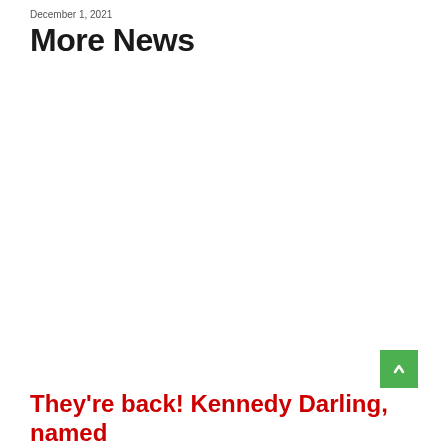December 1, 2021
More News
They're back! Kennedy Darling, named